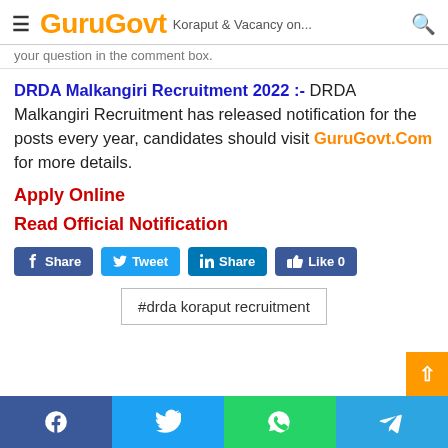GuruGovt — hamburger menu and search icon
your question in the comment box.
DRDA Malkangiri Recruitment 2022 :- DRDA Malkangiri Recruitment has released notification for the posts every year, candidates should visit GuruGovt.Com for more details.
Apply Online
Read Official Notification
[Figure (infographic): Social share buttons: Facebook Share, Tweet, LinkedIn Share, Like 0]
#drda koraput recruitment
[Figure (infographic): Bottom social share bar with Facebook, Twitter, WhatsApp, and Telegram icons]